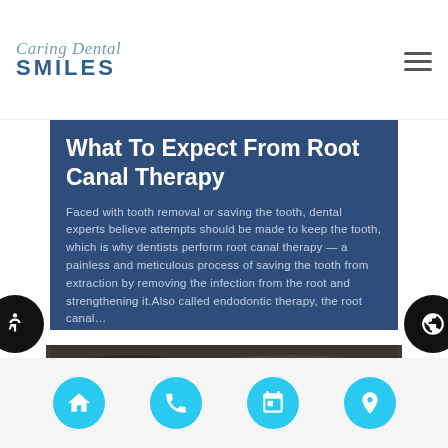Caring Dental Smiles
What To Expect From Root Canal Therapy
Faced with tooth removal or saving the tooth, dental experts believe attempts should be made to keep the tooth, which is why dentists perform root canal therapy — a painless and meticulous process of saving the tooth from extraction by removing the infection from the root and strengthening it. Also called endodontic therapy, the root canal…
[Figure (photo): Close-up photo of dental instruments being held by a person, dark background]
Navigation bar with home, phone, calendar, and location icons